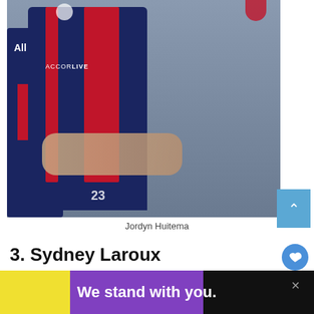[Figure (photo): Soccer player wearing PSG navy blue and red jersey with 'AccorLive' sponsor text, running on field. A second player in red and navy is visible in the background to the left.]
Jordyn Huitema
3. Sydney Laroux
Sydney Leroux is a 31-year old American footballer who plays for the Orlando Pride
[Figure (other): Advertisement banner reading 'We stand with you.' on black, yellow, and purple background with close button.]